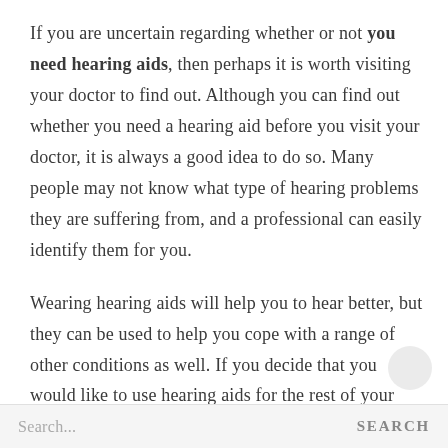If you are uncertain regarding whether or not you need hearing aids, then perhaps it is worth visiting your doctor to find out. Although you can find out whether you need a hearing aid before you visit your doctor, it is always a good idea to do so. Many people may not know what type of hearing problems they are suffering from, and a professional can easily identify them for you.
Wearing hearing aids will help you to hear better, but they can be used to help you cope with a range of other conditions as well. If you decide that you would like to use hearing aids for the rest of your life, then you should make sure that you are getting quality hearing aids.
Search... SEARCH